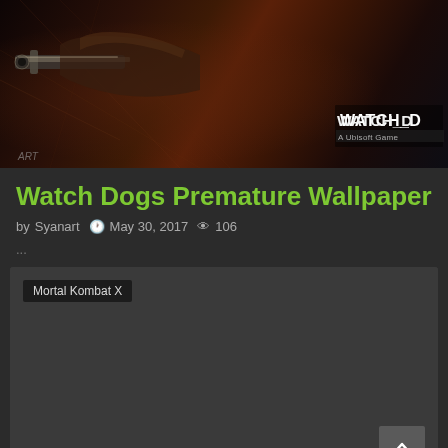[Figure (photo): Watch Dogs game promotional artwork showing a hand holding a gun with a network visualization background and WATCH_DO(GS) logo in the bottom right corner]
Watch Dogs Premature Wallpaper
by Syanart  May 30, 2017  106
...
[Figure (screenshot): Dark gray card/thumbnail area with a 'Mortal Kombat X' tag label in the top left corner and a back-to-top arrow button in the bottom right corner]